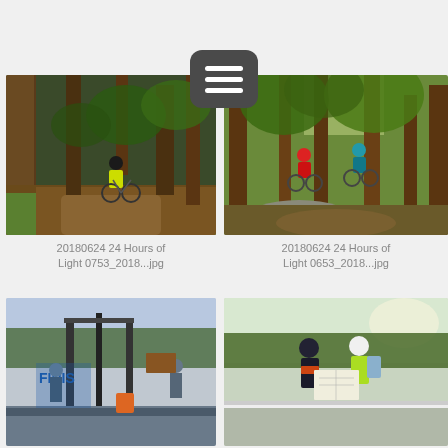[Figure (screenshot): Menu/hamburger icon button with three white horizontal lines on dark gray rounded rectangle background]
[Figure (photo): Mountain biker in yellow jersey riding on a dirt trail through a pine forest]
20180624 24 Hours of Light 0753_2018...jpg
[Figure (photo): Two mountain bikers riding through a forest trail with rocks]
20180624 24 Hours of Light 0653_2018...jpg
[Figure (photo): Finish line area at an outdoor event with people and equipment visible, FINIS sign visible]
[Figure (photo): Two cyclists looking at a map at an outdoor event with trees and barriers in background]